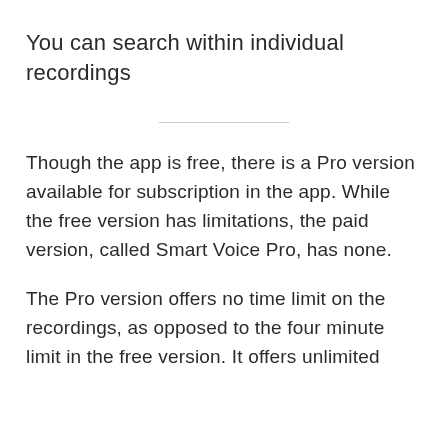You can search within individual recordings
Though the app is free, there is a Pro version available for subscription in the app. While the free version has limitations, the paid version, called Smart Voice Pro, has none.
The Pro version offers no time limit on the recordings, as opposed to the four minute limit in the free version. It offers unlimited